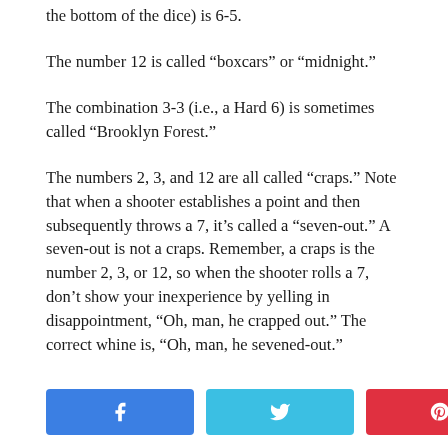the bottom of the dice) is 6-5.
The number 12 is called “boxcars” or “midnight.”
The combination 3-3 (i.e., a Hard 6) is sometimes called “Brooklyn Forest.”
The numbers 2, 3, and 12 are all called “craps.” Note that when a shooter establishes a point and then subsequently throws a 7, it’s called a “seven-out.” A seven-out is not a craps. Remember, a craps is the number 2, 3, or 12, so when the shooter rolls a 7, don’t show your inexperience by yelling in disappointment, “Oh, man, he crapped out.” The correct whine is, “Oh, man, he sevened-out.”
[Figure (infographic): Social share bar with Facebook (blue), Twitter (light blue), Pinterest (red) buttons and a share count showing 0 SHARES]